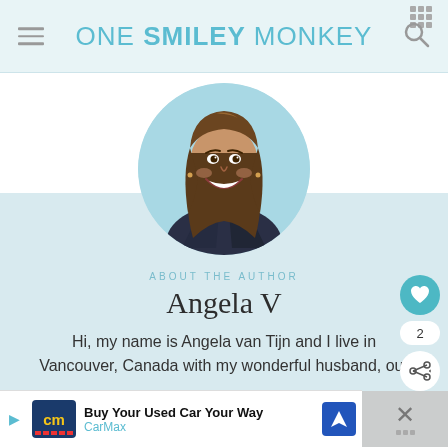ONE SMILEY MONKEY
[Figure (photo): Profile photo of Angela V, a smiling woman with long brown hair wearing a dark navy wrap top, displayed in a circular frame with a teal/light blue circular background.]
ABOUT THE AUTHOR
Angela V
Hi, my name is Angela van Tijn and I live in Vancouver, Canada with my wonderful husband, our...
[Figure (infographic): Advertisement banner: CarMax 'Buy Your Used Car Way' ad with CarMax logo (cm) in blue box, navigation icon, and close button.]